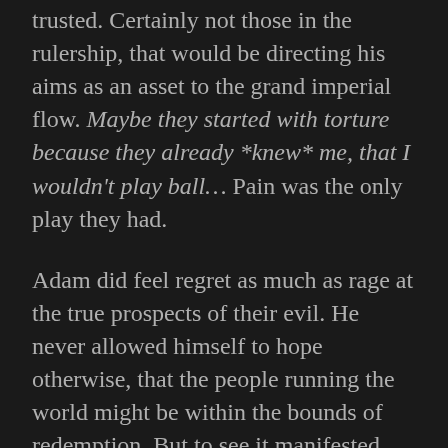trusted. Certainly not those in the rulership, that would be directing his aims as an asset to the grand imperial flow. Maybe they started with torture because they already *knew* me, that I wouldn't play ball... Pain was the only play they had.
Adam did feel regret as much as rage at the true prospects of their evil. He never allowed himself to hope otherwise, that the people running the world might be within the bounds of redemption. But to see it manifested before his eyes and upon his own body had changed him. For the worse. His memories of better days and better Men kept his heart afloat. Monsters like Dom, they reflected nothing of the brave people who